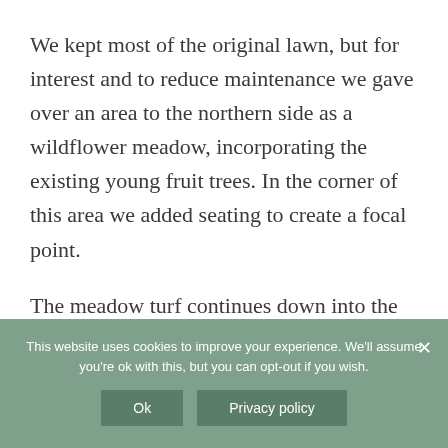We kept most of the original lawn, but for interest and to reduce maintenance we gave over an area to the northern side as a wildflower meadow, incorporating the existing young fruit trees. In the corner of this area we added seating to create a focal point.
The meadow turf continues down into the lower area at the bottom of the garden where a large urn placed centrally creates another point of interest when viewed from the house.
This website uses cookies to improve your experience. We'll assume you're ok with this, but you can opt-out if you wish.